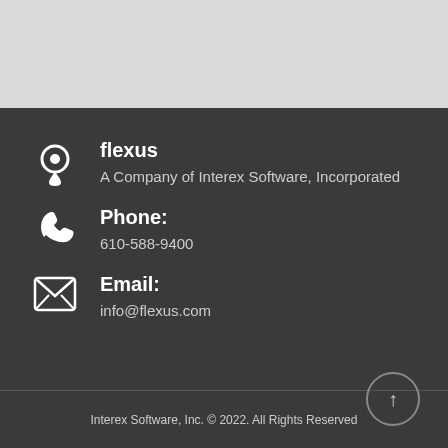[Figure (other): Light gray top bar area]
flexus
A Company of Interex Software, Incorporated
Phone:
610-588-9400
Email:
info@flexus.com
Interex Software, Inc. © 2022. All Rights Reserved